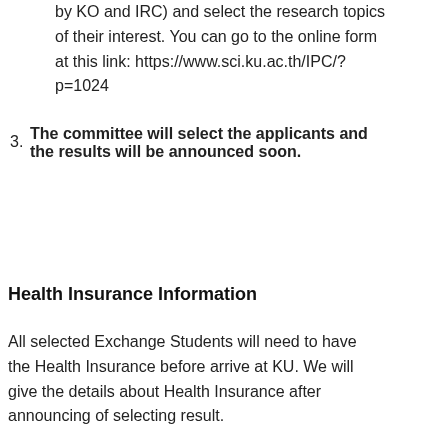by KO and IRC) and select the research topics of their interest. You can go to the online form at this link: https://www.sci.ku.ac.th/IPC/?p=1024
3. The committee will select the applicants and the results will be announced soon.
Health Insurance Information
All selected Exchange Students will need to have the Health Insurance before arrive at KU. We will give the details about Health Insurance after announcing of selecting result.